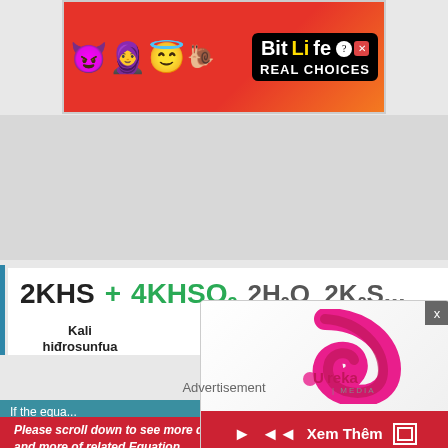[Figure (screenshot): BitLife advertisement banner with cartoon emoji characters (devil, person, angel, snail/sperm) and BitLife REAL CHOICES text on black background, red/orange background]
Kali hiđrosunfua + Kali hiđrosunfit
If the equation...
Please scroll down to see more detail and more of related Equation
[Figure (logo): Ureka Media logo — pink/magenta spiral shape with Ureka | MEDIA text]
Xem Thêm
Advertisement